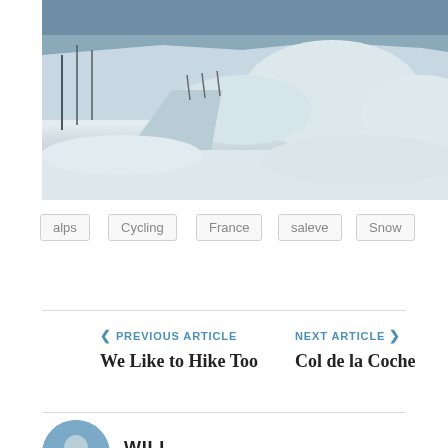[Figure (photo): Winter snow scene showing a snowy road or path with heavy snow on either side, trees bare and snow-covered in background, blue-grey sky visible at top]
alps
Cycling
France
saleve
Snow
video
PREVIOUS ARTICLE — We Like to Hike Too
NEXT ARTICLE — Col de la Coche
WILL